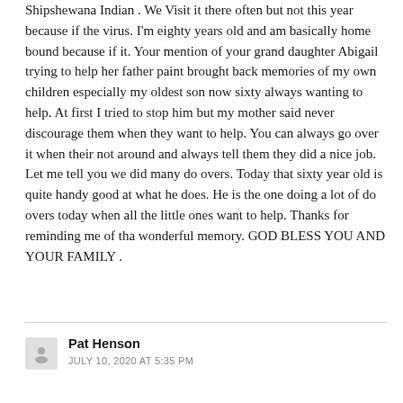Shipshewana Indian . We Visit it there often but not this year because if the virus. I'm eighty years old and am basically home bound because if it. Your mention of your grand daughter Abigail trying to help her father paint brought back memories of my own children especially my oldest son now sixty always wanting to help. At first I tried to stop him but my mother said never discourage them when they want to help. You can always go over it when their not around and always tell them they did a nice job. Let me tell you we did many do overs. Today that sixty year old is quite handy good at what he does. He is the one doing a lot of do overs today when all the little ones want to help. Thanks for reminding me of tha wonderful memory. GOD BLESS YOU AND YOUR FAMILY .
Pat Henson
JULY 10, 2020 AT 5:35 PM